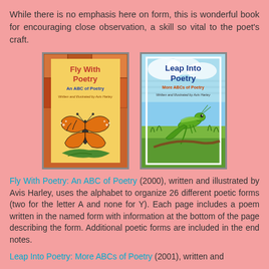While there is no emphasis here on form, this is wonderful book for encouraging close observation, a skill so vital to the poet's craft.
[Figure (illustration): Two book covers side by side: 'Fly With Poetry: An ABC of Poetry' showing a monarch butterfly on a yellow background, and 'Leap Into Poetry: More ABCs of Poetry' showing a grasshopper on a blue/green background.]
Fly With Poetry: An ABC of Poetry (2000), written and illustrated by Avis Harley, uses the alphabet to organize 26 different poetic forms (two for the letter A and none for Y). Each page includes a poem written in the named form with information at the bottom of the page describing the form. Additional poetic forms are included in the end notes.
Leap Into Poetry: More ABCs of Poetry (2001), written and